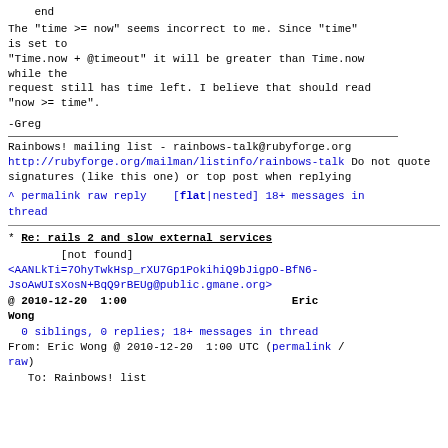end
The "time >= now" seems incorrect to me. Since "time"
is set to
"Time.now + @timeout" it will be greater than Time.now
while the
request still has time left. I believe that should read
"now >= time".
-Greg
Rainbows! mailing list - rainbows-talk@rubyforge.org
http://rubyforge.org/mailman/listinfo/rainbows-talk
Do not quote signatures (like this one) or top post
when replying
^ permalink raw reply   [flat|nested] 18+ messages in
thread
* Re: rails 2 and slow external services
[not found]
<AANLkTi=7OhyTwkHsp_rXU7Gp1PokihiQ9bJigpO-BfN6-
JsoAwUIsXosN+BqQ9rBEUg@public.gmane.org>
@ 2010-12-20  1:00                          Eric
Wong
  0 siblings, 0 replies; 18+ messages in thread
From: Eric Wong @ 2010-12-20  1:00 UTC (permalink /
raw)
   To: Rainbows! list